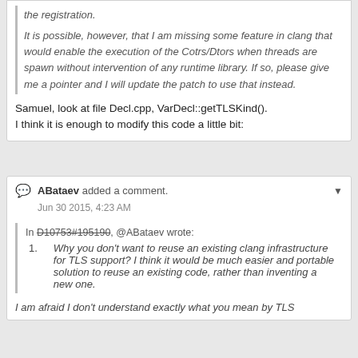the registration.
It is possible, however, that I am missing some feature in clang that would enable the execution of the Cotrs/Dtors when threads are spawn without intervention of any runtime library. If so, please give me a pointer and I will update the patch to use that instead.
Samuel, look at file Decl.cpp, VarDecl::getTLSKind().
I think it is enough to modify this code a little bit:
ABataev added a comment.
Jun 30 2015, 4:23 AM
In D10753#195190, @ABataev wrote:
Why you don't want to reuse an existing clang infrastructure for TLS support? I think it would be much easier and portable solution to reuse an existing code, rather than inventing a new one.
I am afraid I don't understand exactly what you mean by TLS